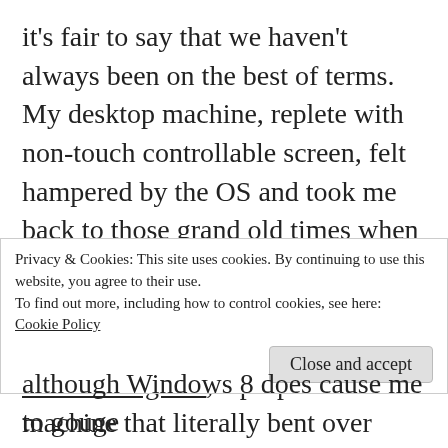it's fair to say that we haven't always been on the best of terms. My desktop machine, replete with non-touch controllable screen, felt hampered by the OS and took me back to those grand old times when people would swear loudly at their computers with gay abandon. Even after spending time with the Lenovo Yoga 13, a purpose built machine that literally bent over backwards to make Windows 8 work, I was still left cold by the whole experience. Thus, it seemed, I was destined to leave behind
Privacy & Cookies: This site uses cookies. By continuing to use this website, you agree to their use.
To find out more, including how to control cookies, see here: Cookie Policy
although Windows 8 does cause me to gouge